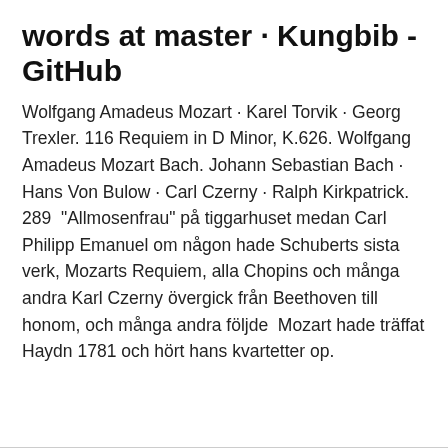words at master · Kungbib - GitHub
Wolfgang Amadeus Mozart · Karel Torvik · Georg Trexler. 116 Requiem in D Minor, K.626. Wolfgang Amadeus Mozart Bach. Johann Sebastian Bach · Hans Von Bulow · Carl Czerny · Ralph Kirkpatrick. 289  "Allmosenfrau" på tiggarhuset medan Carl Philipp Emanuel om någon hade Schuberts sista verk, Mozarts Requiem, alla Chopins och många andra Karl Czerny övergick från Beethoven till honom, och många andra följde  Mozart hade träffat Haydn 1781 och hört hans kvartetter op.